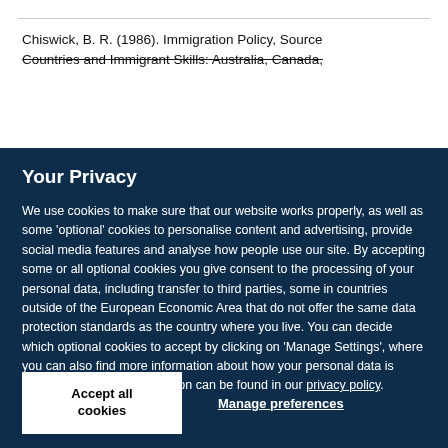Chiswick, B. R. (1986). Immigration Policy, Source Countries and Immigrant Skills: Australia, Canada,
Your Privacy
We use cookies to make sure that our website works properly, as well as some ‘optional’ cookies to personalise content and advertising, provide social media features and analyse how people use our site. By accepting some or all optional cookies you give consent to the processing of your personal data, including transfer to third parties, some in countries outside of the European Economic Area that do not offer the same data protection standards as the country where you live. You can decide which optional cookies to accept by clicking on ‘Manage Settings’, where you can also find more information about how your personal data is processed. Further information can be found in our privacy policy.
Accept all cookies
Manage preferences